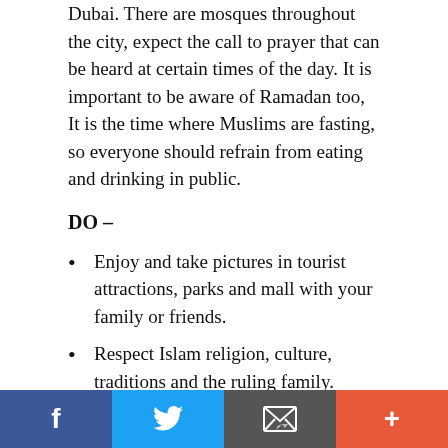Dubai. There are mosques throughout the city, expect the call to prayer that can be heard at certain times of the day. It is important to be aware of Ramadan too, It is the time where Muslims are fasting, so everyone should refrain from eating and drinking in public.
DO –
Enjoy and take pictures in tourist attractions, parks and mall with your family or friends.
Respect Islam religion, culture, traditions and the ruling family.
Use your right hand to greet people, accept, take or give something.